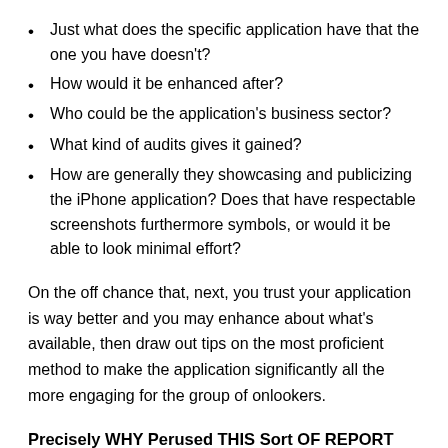Just what does the specific application have that the one you have doesn't?
How would it be enhanced after?
Who could be the application's business sector?
What kind of audits gives it gained?
How are generally they showcasing and publicizing the iPhone application? Does that have respectable screenshots furthermore symbols, or would it be able to look minimal effort?
On the off chance that, next, you trust your application is way better and you may enhance about what's available, then draw out tips on the most proficient method to make the application significantly all the more engaging for the group of onlookers.
Precisely WHY Perused THIS Sort OF REPORT